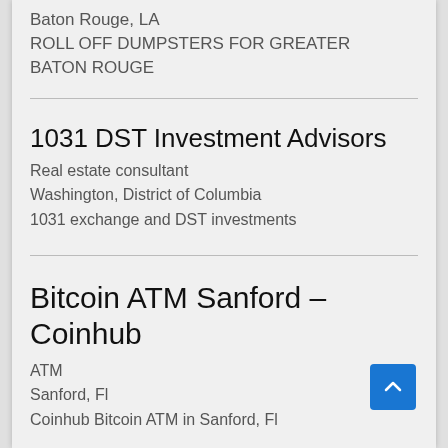Baton Rouge, LA
ROLL OFF DUMPSTERS FOR GREATER BATON ROUGE
1031 DST Investment Advisors
Real estate consultant
Washington, District of Columbia
1031 exchange and DST investments
Bitcoin ATM Sanford – Coinhub
ATM
Sanford, Fl
Coinhub Bitcoin ATM in Sanford, Fl